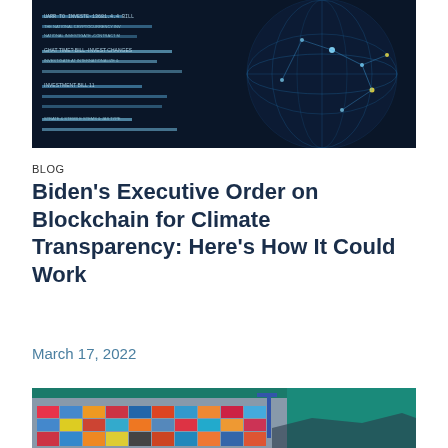[Figure (photo): Dark blue digital background with code/data text on left and glowing globe network visualization on right, representing blockchain/digital technology]
BLOG
Biden's Executive Order on Blockchain for Climate Transparency: Here's How It Could Work
March 17, 2022
[Figure (photo): Aerial view of a cargo container ship docked at port with colorful shipping containers and cranes, teal ocean water visible]